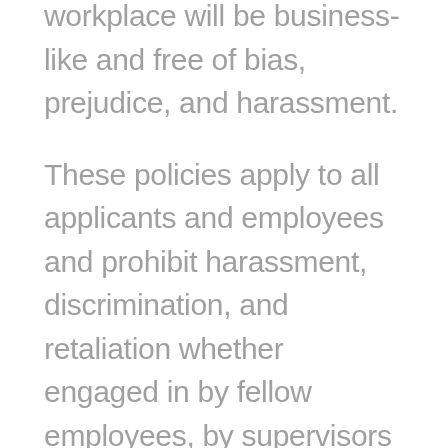workplace will be business-like and free of bias, prejudice, and harassment.
These policies apply to all applicants and employees and prohibit harassment, discrimination, and retaliation whether engaged in by fellow employees, by supervisors or managers, or by someone not directly connected to Freedom (e.g. an outside vendor, consultant, or customer).
Conduct prohibited by these policies is unacceptable in the workplace and in any work-related setting outside the workplace, such as during business trips, business meetings, and business-related social events.
Retaliation is prohibited against any individual who reports discrimination or harassment, or participates in an investigation of such reports. Retaliation against an